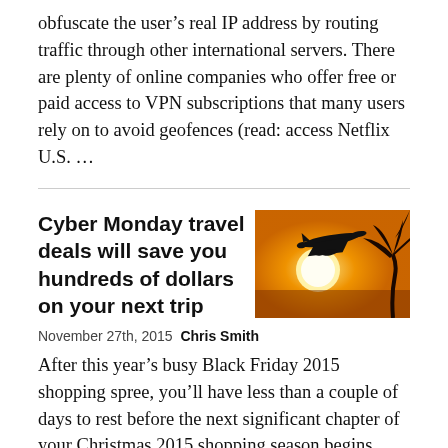obfuscate the user's real IP address by routing traffic through other international servers. There are plenty of online companies who offer free or paid access to VPN subscriptions that many users rely on to avoid geofences (read: access Netflix U.S. ...
Cyber Monday travel deals will save you hundreds of dollars on your next trip
[Figure (photo): Silhouette of an airplane flying against a bright orange sunset sky with a palm tree visible on the right edge]
November 27th, 2015  Chris Smith
After this year's busy Black Friday 2015 shopping spree, you'll have less than a couple of days to rest before the next significant chapter of your Christmas 2015 shopping season begins. Many Cyber Monday deals have already been announced that cover all sorts of products on everything from tech to travel this